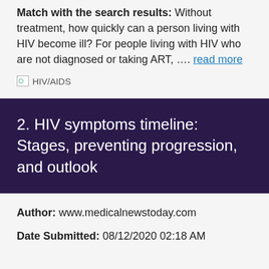Match with the search results: Without treatment, how quickly can a person living with HIV become ill? For people living with HIV who are not diagnosed or taking ART, …. read more
[Figure (illustration): Broken image placeholder labeled HIV/AIDS]
2. HIV symptoms timeline: Stages, preventing progression, and outlook
Author: www.medicalnewstoday.com
Date Submitted: 08/12/2020 02:18 AM